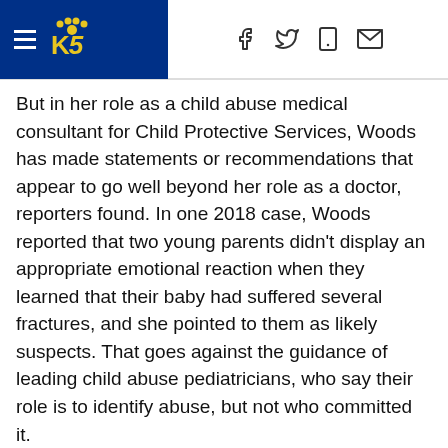KING5 News navigation header with hamburger menu, KING5 logo, and social/share icons (Facebook, Twitter, mobile, email)
But in her role as a child abuse medical consultant for Child Protective Services, Woods has made statements or recommendations that appear to go well beyond her role as a doctor, reporters found. In one 2018 case, Woods reported that two young parents didn't display an appropriate emotional reaction when they learned that their baby had suffered several fractures, and she pointed to them as likely suspects. That goes against the guidance of leading child abuse pediatricians, who say their role is to identify abuse, but not who committed it.
“Both parents remain concerning to me as either could have been involved or either could be protecting the other parent,” Woods wrote in her report to Child Protective Services. “In addition, neither parent behaved in a protective manner when child first presented with injuries.”
In another case examined by reporters, from 2019, Woods reported to Child Protective Services and police that twin